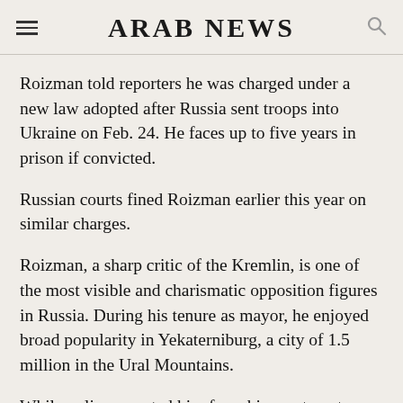ARAB NEWS
Roizman told reporters he was charged under a new law adopted after Russia sent troops into Ukraine on Feb. 24. He faces up to five years in prison if convicted.
Russian courts fined Roizman earlier this year on similar charges.
Roizman, a sharp critic of the Kremlin, is one of the most visible and charismatic opposition figures in Russia. During his tenure as mayor, he enjoyed broad popularity in Yekaterniburg, a city of 1.5 million in the Ural Mountains.
While police escorted him from his apartment